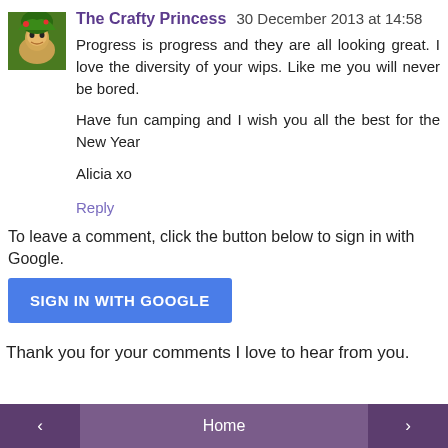[Figure (photo): Avatar image of The Crafty Princess — a illustrated woman in green/yellow tones]
The Crafty Princess 30 December 2013 at 14:58
Progress is progress and they are all looking great. I love the diversity of your wips. Like me you will never be bored.

Have fun camping and I wish you all the best for the New Year

Alicia xo

Reply
To leave a comment, click the button below to sign in with Google.
SIGN IN WITH GOOGLE
Thank you for your comments I love to hear from you.
‹  Home  ›